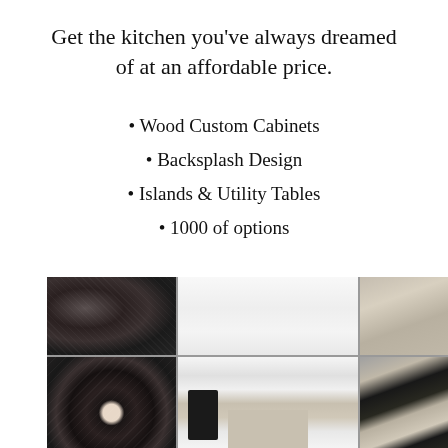Get the kitchen you've always dreamed of at an affordable price.
Wood Custom Cabinets
Backsplash Design
Islands & Utility Tables
1000 of options
[Figure (photo): A 2x3 grid of kitchen photos showing granite countertop textures (dark speckled stone) on the left column, a white modern kitchen interior in the top middle, and a contemporary kitchen with island and range hood on the right and bottom.]